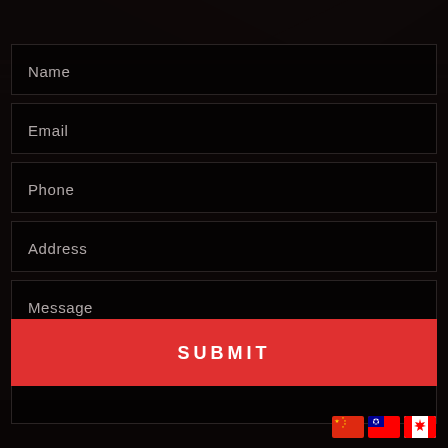[Figure (photo): Dark background photo of a house exterior, heavily dimmed with dark overlay]
Name
Email
Phone
Address
Message
SUBMIT
[Figure (illustration): Three flag icons: China, Taiwan, Canada]